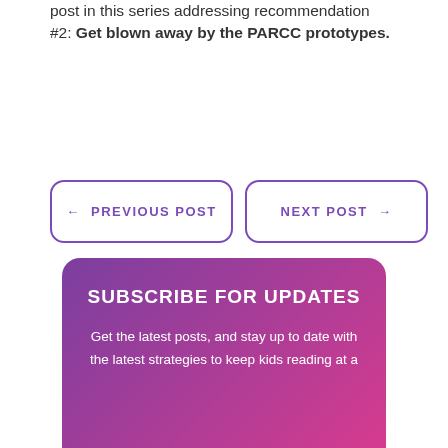post in this series addressing recommendation #2: Get blown away by the PARCC prototypes.
← PREVIOUS POST
NEXT POST →
SUBSCRIBE FOR UPDATES
Get the latest posts, and stay up to date with the latest strategies to keep kids reading at a